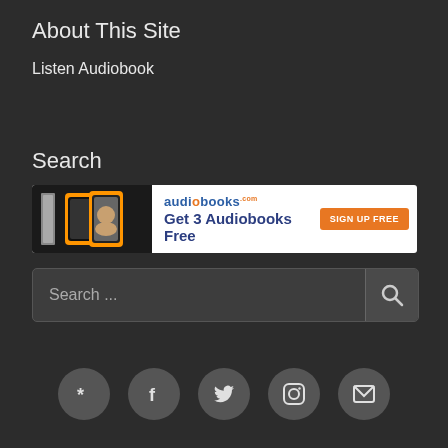About This Site
Listen Audiobook
Search
[Figure (infographic): Advertisement banner for audiobooks.com: 'Get 3 Audiobooks Free' with orange 'SIGN UP FREE' button and phone graphics on dark background]
Search ...
[Figure (infographic): Social media icon bar with 5 circular grey buttons: Yelp, Facebook, Twitter, Instagram, Email]